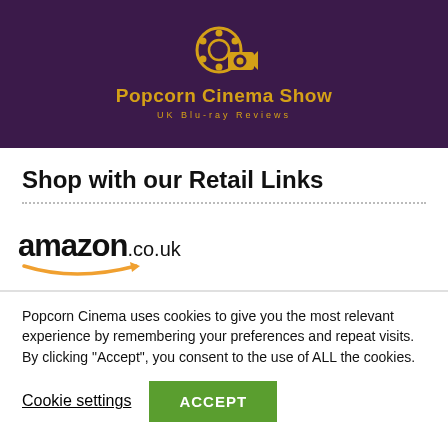[Figure (logo): Popcorn Cinema Show logo on dark purple background with film reel and camera icons in gold, text 'Popcorn Cinema Show' and 'UK Blu-ray Reviews']
Shop with our Retail Links
[Figure (logo): Amazon.co.uk logo with gold smile/arrow underneath]
Popcorn Cinema uses cookies to give you the most relevant experience by remembering your preferences and repeat visits. By clicking “Accept”, you consent to the use of ALL the cookies.
Cookie settings   ACCEPT